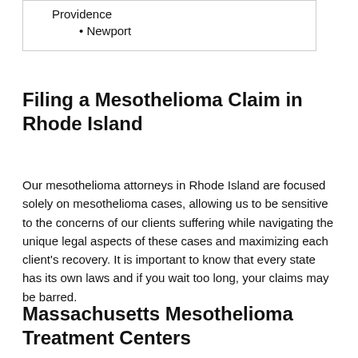Providence
Newport
Filing a Mesothelioma Claim in Rhode Island
Our mesothelioma attorneys in Rhode Island are focused solely on mesothelioma cases, allowing us to be sensitive to the concerns of our clients suffering while navigating the unique legal aspects of these cases and maximizing each client's recovery. It is important to know that every state has its own laws and if you wait too long, your claims may be barred.
Massachusetts Mesothelioma Treatment Centers